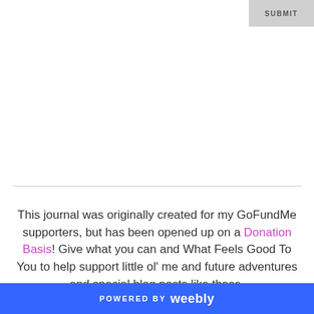[Figure (screenshot): SUBMIT button in light gray at top right corner]
This journal was originally created for my GoFundMe supporters, but has been opened up on a Donation Basis! Give what you can and What Feels Good To You to help support little ol' me and future adventures and special blog posts like these.
POWERED BY weebly